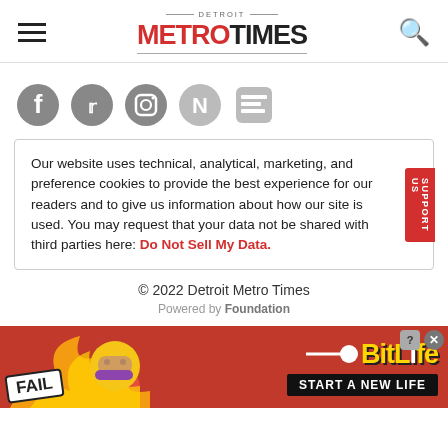Detroit Metro Times
[Figure (logo): Social media icons: Facebook, Twitter, Instagram, Apple News, Google News]
Our website uses technical, analytical, marketing, and preference cookies to provide the best experience for our readers and to give us information about how our site is used. You may request that your data not be shared with third parties here: Do Not Sell My Data.
© 2022 Detroit Metro Times
Powered by Foundation
[Figure (illustration): BitLife advertisement banner with fire, fail emoji, and 'START A NEW LIFE' text on red background]